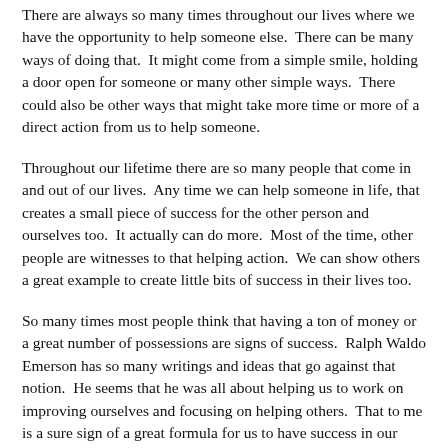There are always so many times throughout our lives where we have the opportunity to help someone else. There can be many ways of doing that. It might come from a simple smile, holding a door open for someone or many other simple ways. There could also be other ways that might take more time or more of a direct action from us to help someone.
Throughout our lifetime there are so many people that come in and out of our lives. Any time we can help someone in life, that creates a small piece of success for the other person and ourselves too. It actually can do more. Most of the time, other people are witnesses to that helping action. We can show others a great example to create little bits of success in their lives too.
So many times most people think that having a ton of money or a great number of possessions are signs of success. Ralph Waldo Emerson has so many writings and ideas that go against that notion. He seems that he was all about helping us to work on improving ourselves and focusing on helping others. That to me is a sure sign of a great formula for us to have success in our lifetime. Just think, if more people went about living their lives with this thought of helping